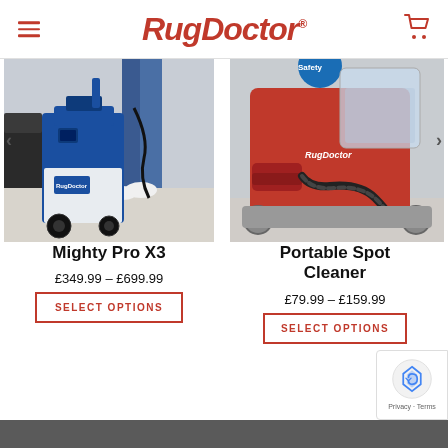Rug Doctor
[Figure (photo): Blue Rug Doctor Mighty Pro X3 carpet cleaning machine standing on light carpet next to a person in jeans and white sneakers]
[Figure (photo): Red Rug Doctor Portable Spot Cleaner with hose attachment on light carpet, with a blue badge visible at top]
Mighty Pro X3
£349.99 – £699.99
SELECT OPTIONS
Portable Spot Cleaner
£79.99 – £159.99
SELECT OPTIONS